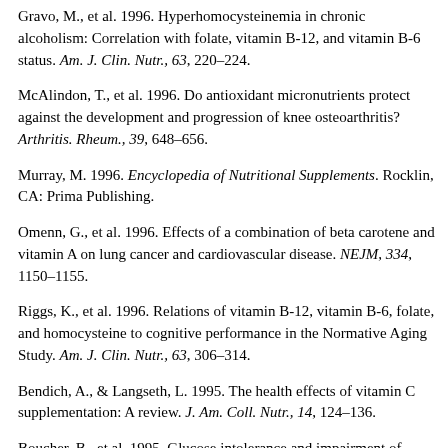Gravo, M., et al. 1996. Hyperhomocysteinemia in chronic alcoholism: Correlation with folate, vitamin B-12, and vitamin B-6 status. Am. J. Clin. Nutr., 63, 220–224.
McAlindon, T., et al. 1996. Do antioxidant micronutrients protect against the development and progression of knee osteoarthritis? Arthritis. Rheum., 39, 648–656.
Murray, M. 1996. Encyclopedia of Nutritional Supplements. Rocklin, CA: Prima Publishing.
Omenn, G., et al. 1996. Effects of a combination of beta carotene and vitamin A on lung cancer and cardiovascular disease. NEJM, 334, 1150–1155.
Riggs, K., et al. 1996. Relations of vitamin B-12, vitamin B-6, folate, and homocysteine to cognitive performance in the Normative Aging Study. Am. J. Clin. Nutr., 63, 306–314.
Bendich, A., & Langseth, L. 1995. The health effects of vitamin C supplementation: A review. J. Am. Coll. Nutr., 14, 124–136.
Boucher, B., et al. 1995. Glucose intolerance and impairment of insulin secretion in relation to vitamin D deficiency in east London Asians. Diabetologia, 38, 1239–1245.
Baranth, J. 1995. Magnesium status and health. Nutr. Rev., 53, 622...